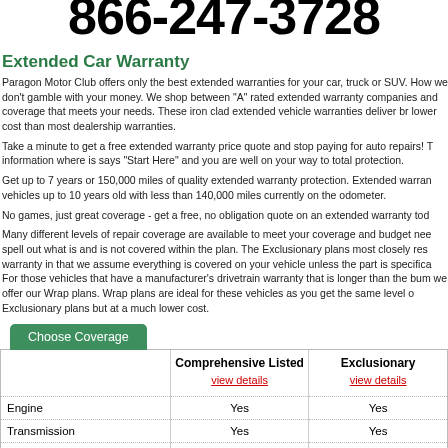866-247-3728
Extended Car Warranty
Paragon Motor Club offers only the best extended warranties for your car, truck or SUV. How we don't gamble with your money. We shop between "A" rated extended warranty companies and coverage that meets your needs. These iron clad extended vehicle warranties deliver br lower cost than most dealership warranties.
Take a minute to get a free extended warranty price quote and stop paying for auto repairs! T information where is says "Start Here" and you are well on your way to total protection.
Get up to 7 years or 150,000 miles of quality extended warranty protection. Extended warran vehicles up to 10 years old with less than 140,000 miles currently on the odometer.
No games, just great coverage - get a free, no obligation quote on an extended warranty tod
Many different levels of repair coverage are available to meet your coverage and budget nee spell out what is and is not covered within the plan. The Exclusionary plans most closely res warranty in that we assume everything is covered on your vehicle unless the part is specifica For those vehicles that have a manufacturer's drivetrain warranty that is longer than the bum we offer our Wrap plans. Wrap plans are ideal for these vehicles as you get the same level o Exclusionary plans but at a much lower cost.
|  | Comprehensive Listed | Exclusionary |
| --- | --- | --- |
|  | view details | view details |
| Engine | Yes | Yes |
| Transmission | Yes | Yes |
| Transaxle | Yes | Yes |